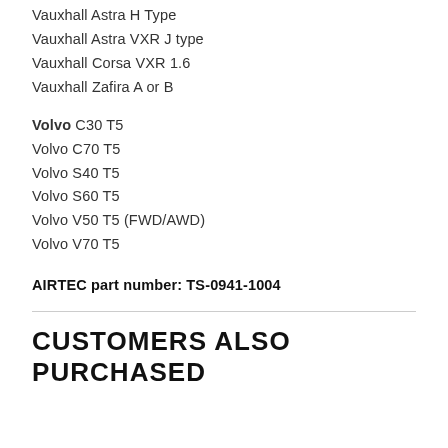Vauxhall Astra H Type
Vauxhall Astra VXR J type
Vauxhall Corsa VXR 1.6
Vauxhall Zafira A or B
Volvo C30 T5
Volvo C70 T5
Volvo S40 T5
Volvo S60 T5
Volvo V50 T5 (FWD/AWD)
Volvo V70 T5
AIRTEC part number: TS-0941-1004
CUSTOMERS ALSO PURCHASED